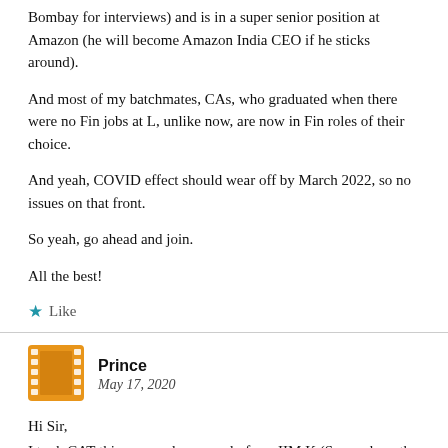Bombay for interviews) and is in a super senior position at Amazon (he will become Amazon India CEO if he sticks around).
And most of my batchmates, CAs, who graduated when there were no Fin jobs at L, unlike now, are now in Fin roles of their choice.
And yeah, COVID effect should wear off by March 2022, so no issues on that front.
So yeah, go ahead and join.
All the best!
★ Like
Prince
May 17, 2020
Hi Sir,
I took CAT this year and came only from IIM K (Somewhere the